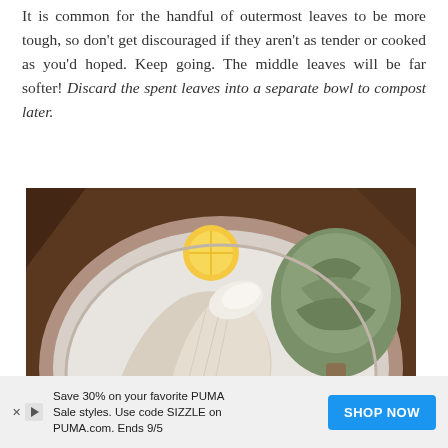It is common for the handful of outermost leaves to be more tough, so don't get discouraged if they aren't as tender or cooked as you'd hoped. Keep going. The middle leaves will be far softer! Discard the spent leaves into a separate bowl to compost later.
[Figure (photo): Close-up photo of artichoke leaves being peeled in a white bowl, with lemon visible, on a wooden surface.]
Save 30% on your favorite PUMA Sale styles. Use code SIZZLE on PUMA.com. Ends 9/5